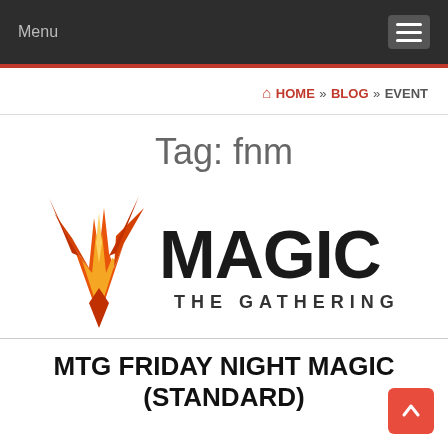Menu
HOME » BLOG » EVENT
Tag: fnm
[Figure (logo): Magic: The Gathering logo with orange/red flame-like planeswalker symbol on the left and stylized bold text 'MAGIC THE GATHERING' on the right]
MTG FRIDAY NIGHT MAGIC (STANDARD)